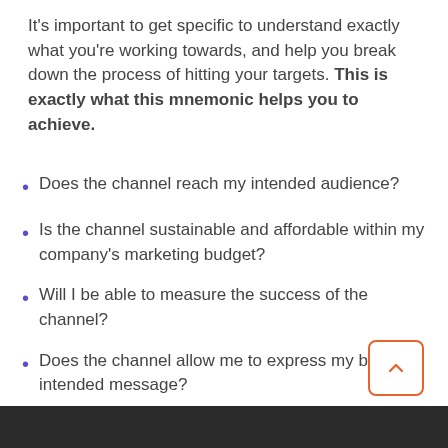It's important to get specific to understand exactly what you're working towards, and help you break down the process of hitting your targets. This is exactly what this mnemonic helps you to achieve.
Does the channel reach my intended audience?
Is the channel sustainable and affordable within my company's marketing budget?
Will I be able to measure the success of the channel?
Does the channel allow me to express my brand's intended message?
Do the channels I'm considering work together to convey my message?
[Figure (photo): Dark photo strip at bottom of page]